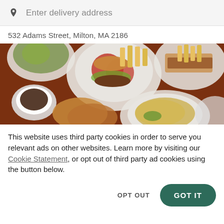Enter delivery address
532 Adams Street, Milton, MA 2186
[Figure (photo): Overhead photo of restaurant food including burgers with tomatoes and lettuce, french fries, a cup of coffee, sandwich, quiche or omelette on white plates on a dark wooden table]
This website uses third party cookies in order to serve you relevant ads on other websites. Learn more by visiting our Cookie Statement, or opt out of third party ad cookies using the button below.
OPT OUT
GOT IT